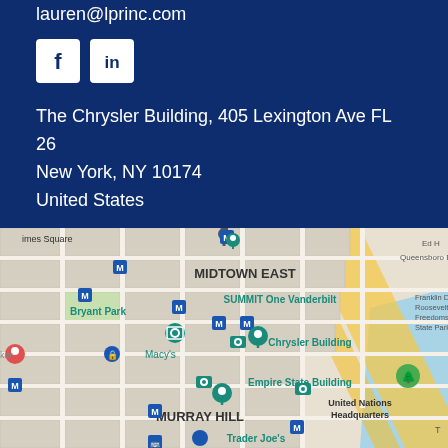lauren@lprinc.com
[Figure (infographic): Facebook and LinkedIn social media icon buttons (white icons on white square backgrounds with dark blue border)]
The Chrysler Building, 405 Lexington Ave FL 26
New York, NY 10174
United States
[Figure (map): Google Maps view of Midtown East Manhattan showing landmarks including Chrysler Building, Bryant Park, Empire State Building, United Nations Headquarters, SUMMIT One Vanderbilt, Times Square, Macy's, Murray Hill, and Trader Joe's]